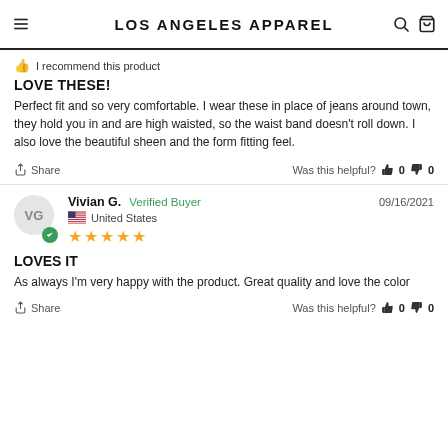LOS ANGELES APPAREL
I recommend this product
LOVE THESE!
Perfect fit and so very comfortable. I wear these in place of jeans around town, they hold you in and are high waisted, so the waist band doesn't roll down. I also love the beautiful sheen and the form fitting feel.
Share  Was this helpful?  0  0
Vivian G.  Verified Buyer  09/16/2021  United States  ★★★★★
LOVES IT
As always I'm very happy with the product. Great quality and love the color
Share  Was this helpful?  0  0